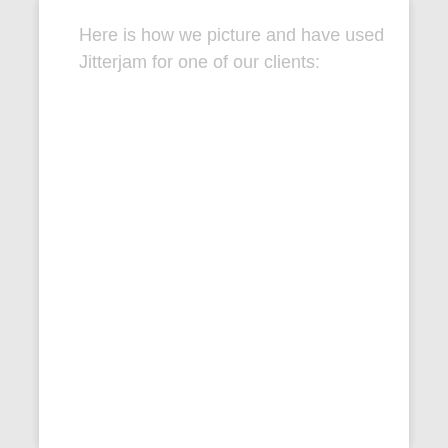Here is how we picture and have used Jitterjam for one of our clients: